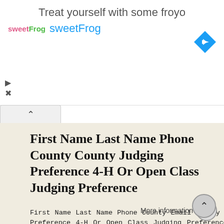[Figure (advertisement): sweetFrog frozen yogurt advertisement with logo, brand name, and navigation icon]
First Name Last Name Phone County County Judging Preference 4-H Or Open Class Judging Preference
First Name Last Name Phone County Email County Judging Preference 4-H Or Open Class Judging Preference Baked Goods 1 Sarah Allen 202-680-0930 DC repsolsarah@gmail.com Anne Arundel, Baltimore, Calvert,
[Figure (table-as-image): Thumbnail of a data table with rows and columns of text]
More information